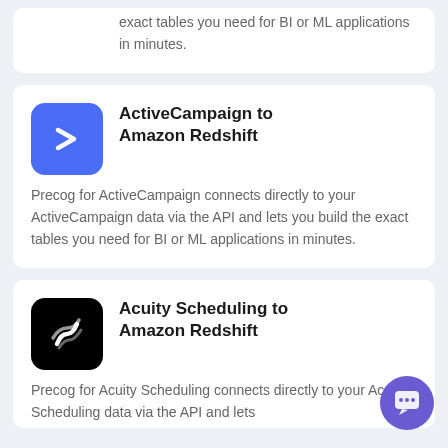exact tables you need for BI or ML applications in minutes.
ActiveCampaign to Amazon Redshift
Precog for ActiveCampaign connects directly to your ActiveCampaign data via the API and lets you build the exact tables you need for BI or ML applications in minutes.
Acuity Scheduling to Amazon Redshift
Precog for Acuity Scheduling connects directly to your Acuity Scheduling data via the API and lets